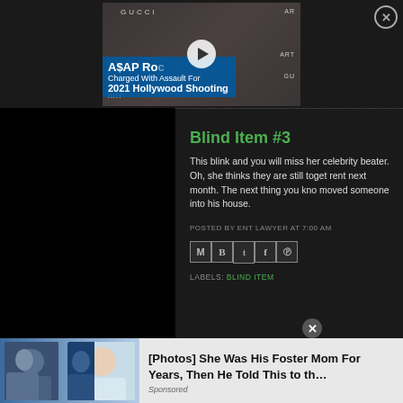[Figure (screenshot): Video thumbnail showing A$AP Rocky at a Gucci event, with blue overlay text reading 'A$AP Rocky Charged With Assault For 2021 Hollywood Shooting', play button in center, close X top right]
Blind Item #3
This blink and you will miss her celebrity beater. Oh, she thinks they are still together rent next month. The next thing you know moved someone into his house.
POSTED BY ENT LAWYER AT 7:00 AM
[Figure (screenshot): Row of social sharing icons: Gmail (M), Blogger (B), Twitter bird, Facebook (f), Pinterest]
LABELS: BLIND ITEM
[Figure (photo): Bottom advertisement showing two photos with headline: [Photos] She Was His Foster Mom For Years, Then He Told This to th… Sponsored]